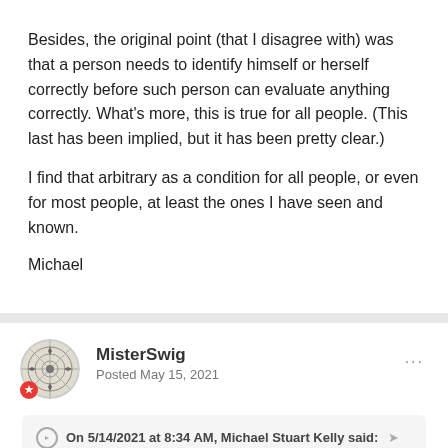Besides, the original point (that I disagree with) was that a person needs to identify himself or herself correctly before such person can evaluate anything correctly. What's more, this is true for all people. (This last has been implied, but it has been pretty clear.)
I find that arbitrary as a condition for all people, or even for most people, at least the ones I have seen and known.
Michael
MisterSwig
Posted May 15, 2021
On 5/14/2021 at 8:34 AM, Michael Stuart Kelly said: she essentially turned "standard" and "purpose" into synonyms.